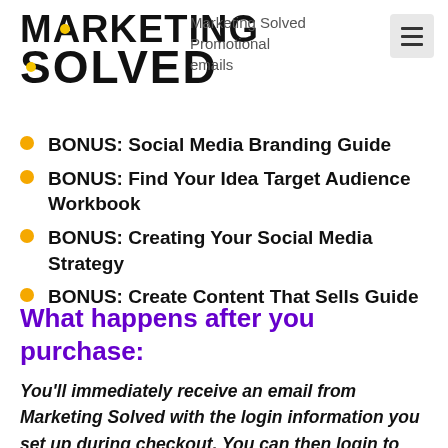MARKETING SOLVED
Marketing Solved Promotional emails
BONUS: Social Media Branding Guide
BONUS: Find Your Idea Target Audience Workbook
BONUS: Creating Your Social Media Strategy
BONUS: Create Content That Sells Guide
What happens after you purchase:
You’ll immediately receive an email from Marketing Solved with the login information you set up during checkout. You can then login to MarketingSolved.com/login, find your recently purchased course and access from your